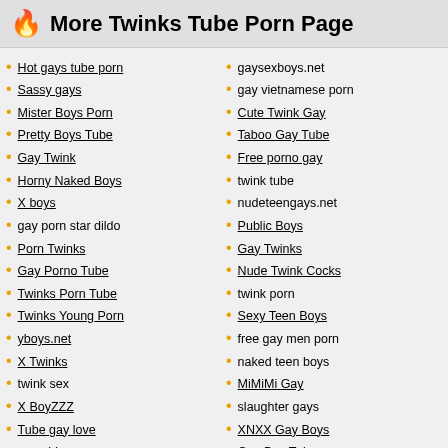🔥 More Twinks Tube Porn Page
Hot gays tube porn
Sassy gays
Mister Boys Porn
Pretty Boys Tube
Gay Twink
Horny Naked Boys
X boys
gay porn star dildo
Porn Twinks
Gay Porno Tube
Twinks Porn Tube
Twinks Young Porn
yboys.net
X Twinks
twink sex
X BoyZZZ
Tube gay love
gay old porn
gaysexboys.net
gay vietnamese porn
Cute Twink Gay
Taboo Gay Tube
Free porno gay
twink tube
nudeteengays.net
Public Boys
Gay Twinks
Nude Twink Cocks
twink porn
Sexy Teen Boys
free gay men porn
naked teen boys
MiMiMi Gay
slaughter gays
XNXX Gay Boys
Gay Boy Tube